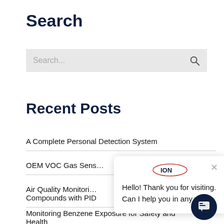Search
[Figure (screenshot): Search input box with placeholder text 'Search...' and a magnifying glass icon on the right]
Recent Posts
A Complete Personal Detection System
OEM VOC Gas Sens…
Air Quality Monitori… Compounds with PID
Monitoring Benzene Exposure for Safety and Health
[Figure (screenshot): Chat popup overlay with ION logo, close button, and message: Hello! Thank you for visiting. Can I help you in any way?]